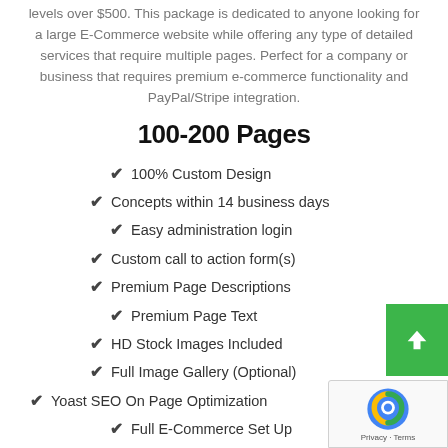levels over $500. This package is dedicated to anyone looking for a large E-Commerce website while offering any type of detailed services that require multiple pages. Perfect for a company or business that requires premium e-commerce functionality and PayPal/Stripe integration.
100-200 Pages
100% Custom Design
Concepts within 14 business days
Easy administration login
Custom call to action form(s)
Premium Page Descriptions
Premium Page Text
HD Stock Images Included
Full Image Gallery (Optional)
Yoast SEO On Page Optimization
Full E-Commerce Set Up